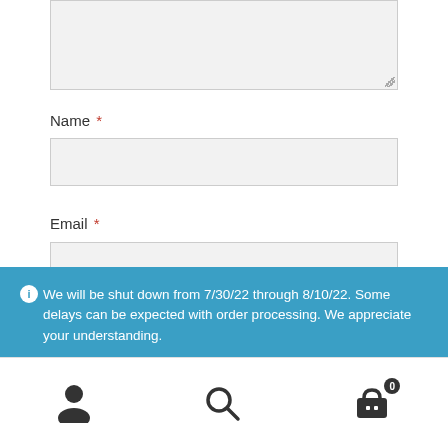[Figure (screenshot): Textarea form input field (grayed out, partially visible at top)]
Name *
[Figure (screenshot): Name text input field (grayed out, empty)]
Email *
[Figure (screenshot): Email text input field (partially visible, grayed out)]
We will be shut down from 7/30/22 through 8/10/22. Some delays can be expected with order processing. We appreciate your understanding. Dismiss
[Figure (screenshot): Bottom navigation bar with person icon, search icon, and shopping cart icon with badge showing 0]